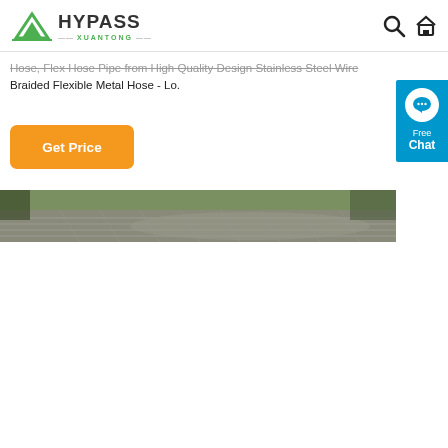HYPASS XUANTONG
Hose, Flex Hose Pipe from High Quality Design Stainless Steel Wire Braided Flexible Metal Hose - Lo.
[Figure (other): Orange 'Get Price' button]
[Figure (other): Free Chat widget (blue, with chat icon)]
[Figure (photo): Partial photo showing stainless steel braided flexible metal hose outdoors with greenery in the background]